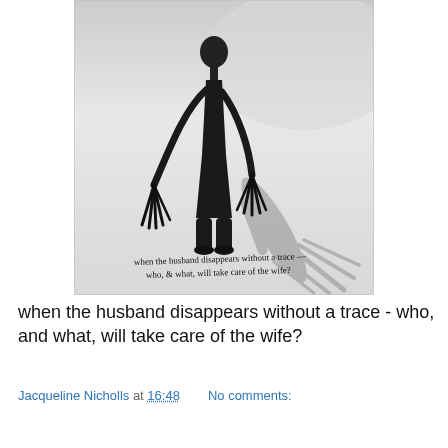[Figure (illustration): A black and white ink drawing of a tall, thin humanoid figure with an elongated body, dramatic clawed/elongated fingers, and a shadow cast to the right. Handwritten text at the bottom of the drawing reads: 'when the husband disappears without a trace — who, & what, will take care of the wife?']
when the husband disappears without a trace - who, and what, will take care of the wife?
Jacqueline Nicholls at 16:48   No comments: